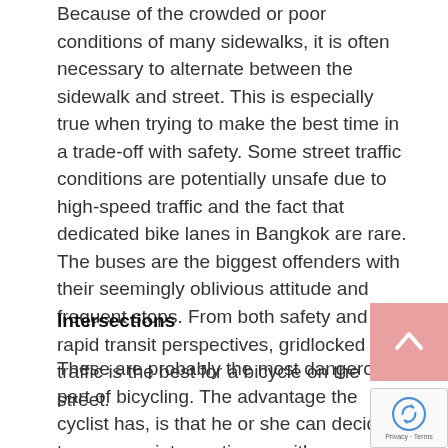Because of the crowded or poor conditions of many sidewalks, it is often necessary to alternate between the sidewalk and street. This is especially true when trying to make the best time in a trade-off with safety. Some street traffic conditions are potentially unsafe due to high-speed traffic and the fact that dedicated bike lanes in Bangkok are rare. The buses are the biggest offenders with their seemingly oblivious attitude and frequent stops. From both safety and rapid transit perspectives, gridlocked traffic is the best for a bicycle on the street.
Intersections
These are probably the most dangerous part of bicycling. The advantage the cyclist has, is that he or she can decide to cross an intersection as either a pedestria vehicle depending on the situation.